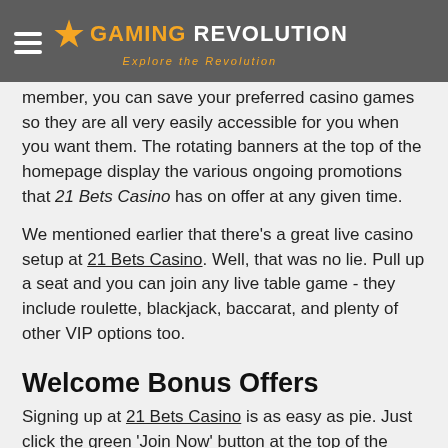GAMING REVOLUTION — Explore the Revolution
member, you can save your preferred casino games so they are all very easily accessible for you when you want them. The rotating banners at the top of the homepage display the various ongoing promotions that 21 Bets Casino has on offer at any given time.
We mentioned earlier that there's a great live casino setup at 21 Bets Casino. Well, that was no lie. Pull up a seat and you can join any live table game - they include roulette, blackjack, baccarat, and plenty of other VIP options too.
Welcome Bonus Offers
Signing up at 21 Bets Casino is as easy as pie. Just click the green 'Join Now' button at the top of the homepage and you will have already taken that first step. If you are on the welcome bonus page, just click the 'Get My Welcome Bonus' button. After that, you'll just have to fill in the usual personal details you need to provide to any online casino. It literally only takes a few minutes of your time. Once you